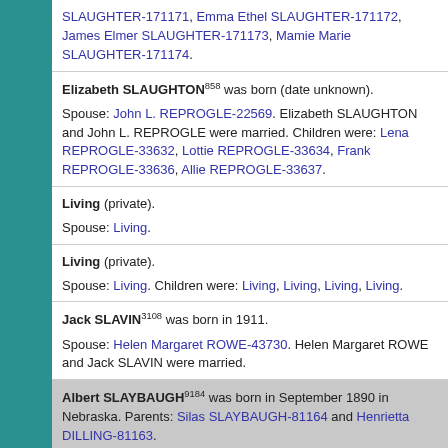SLAUGHTER-171171, Emma Ethel SLAUGHTER-171172, James Elmer SLAUGHTER-171173, Mamie Marie SLAUGHTER-171174.
Elizabeth SLAUGHTON[858] was born (date unknown). Spouse: John L. REPROGLE-22569. Elizabeth SLAUGHTON and John L. REPROGLE were married. Children were: Lena REPROGLE-33632, Lottie REPROGLE-33634, Frank REPROGLE-33636, Allie REPROGLE-33637.
Living (private). Spouse: Living.
Living (private). Spouse: Living. Children were: Living, Living, Living, Living.
Jack SLAVIN[3108] was born in 1911. Spouse: Helen Margaret ROWE-43730. Helen Margaret ROWE and Jack SLAVIN were married.
Albert SLAYBAUGH[9184] was born in September 1890 in Nebraska. Parents: Silas SLAYBAUGH-81164 and Henrietta DILLING-81163.